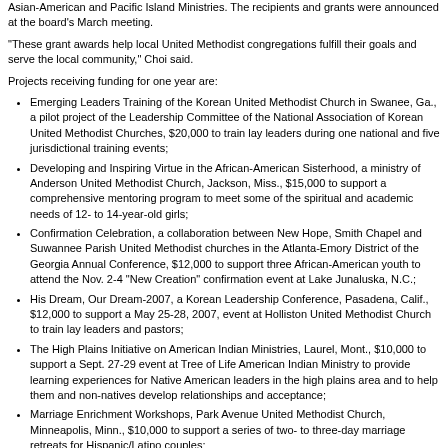Asian-American and Pacific Island Ministries. The recipients and grants were announced at the board's March meeting.
"These grant awards help local United Methodist congregations fulfill their goals and serve the local community," Choi said.
Projects receiving funding for one year are:
Emerging Leaders Training of the Korean United Methodist Church in Swanee, Ga., a pilot project of the Leadership Committee of the National Association of Korean United Methodist Churches, $20,000 to train lay leaders during one national and five jurisdictional training events;
Developing and Inspiring Virtue in the African-American Sisterhood, a ministry of Anderson United Methodist Church, Jackson, Miss., $15,000 to support a comprehensive mentoring program to meet some of the spiritual and academic needs of 12- to 14-year-old girls;
Confirmation Celebration, a collaboration between New Hope, Smith Chapel and Suwannee Parish United Methodist churches in the Atlanta-Emory District of the Georgia Annual Conference, $12,000 to support three African-American youth to attend the Nov. 2-4 "New Creation" confirmation event at Lake Junaluska, N.C.;
His Dream, Our Dream-2007, a Korean Leadership Conference, Pasadena, Calif., $12,000 to support a May 25-28, 2007, event at Holliston United Methodist Church to train lay leaders and pastors;
The High Plains Initiative on American Indian Ministries, Laurel, Mont., $10,000 to support a Sept. 27-29 event at Tree of Life American Indian Ministry to provide learning experiences for Native American leaders in the high plains area and to help them and non-natives develop relationships and acceptance;
Marriage Enrichment Workshops, Park Avenue United Methodist Church, Minneapolis, Minn., $10,000 to support a series of two- to three-day marriage retreats for Hispanic/Latino couples;
Youth Harambee, an annual program of the Southeastern Jurisdiction Black Methodists for Church Renewal, $10,000 to support an African-American youth conference that enables youth and their adult counselors to explore what it means to work together in Christian love;
Ministry for Korean-American Young Adults in the Greater Boston Area, a program of Saint John's United Methodist Church, Lexington, Mass., $9,000 to help fund a program to teach participants to respect and value Korean roots, internalize American values and value their identity as Korean American Christians;